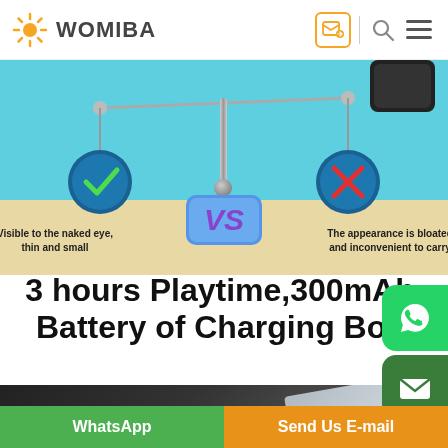WOMIBA
[Figure (infographic): Product comparison infographic showing a balance scale with a green checkmark circle on the left (Visible to the naked eye, thin and small) and a red X circle on the right (The appearance is bloated and inconvenient to carry), with a VS box in the center. Blue and beige background.]
3 hours Playtime,300mAh Battery of Charging Box
[Figure (photo): Dark gray product photo showing a charging case/box with a card and earbuds device]
WhatsApp
Send Us E-mail